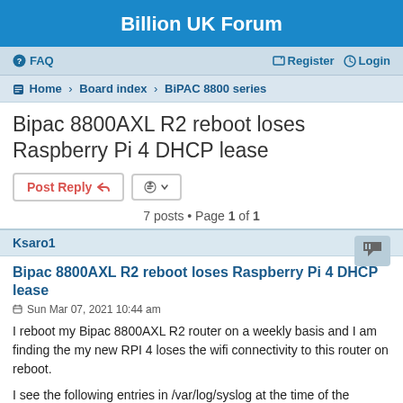Billion UK Forum
FAQ  Register  Login
Home › Board index › BiPAC 8800 series
Bipac 8800AXL R2 reboot loses Raspberry Pi 4 DHCP lease
7 posts • Page 1 of 1
Ksaro1
Bipac 8800AXL R2 reboot loses Raspberry Pi 4 DHCP lease
Sun Mar 07, 2021 10:44 am
I reboot my Bipac 8800AXL R2 router on a weekly basis and I am finding the my new RPI 4 loses the wifi connectivity to this router on reboot.

I see the following entries in /var/log/syslog at the time of the reboot:

Mar 7 02:01:20 PiTv dhcpcd[449]: wlan0: carrier acquired